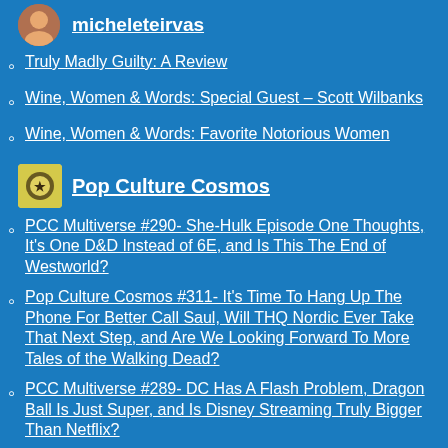micheleteirvas
Truly Madly Guilty: A Review
Wine, Women & Words: Special Guest – Scott Wilbanks
Wine, Women & Words: Favorite Notorious Women
Pop Culture Cosmos
PCC Multiverse #290- She-Hulk Episode One Thoughts, It's One D&D Instead of 6E, and Is This The End of Westworld?
Pop Culture Cosmos #311- It's Time To Hang Up The Phone For Better Call Saul, Will THQ Nordic Ever Take That Next Step, and Are We Looking Forward To More Tales of the Walking Dead?
PCC Multiverse #289- DC Has A Flash Problem, Dragon Ball Is Just Super, and Is Disney Streaming Truly Bigger Than Netflix?
thevoiceforthosewhocannotspeak
Pawesome Review